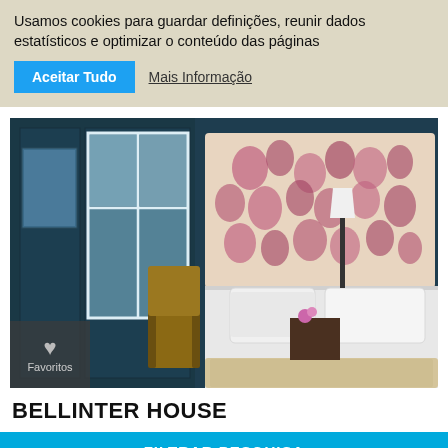Usamos cookies para guardar definições, reunir dados estatísticos e optimizar o conteúdo das páginas
Aceitar Tudo
Mais Informação
[Figure (photo): Hotel bedroom with dark teal panelled walls, ornate floral headboard in pink and cream, white bedding, lamp, wooden chair, and framed artwork]
Favoritos
BELLINTER HOUSE
FILTRAR PESQUISA